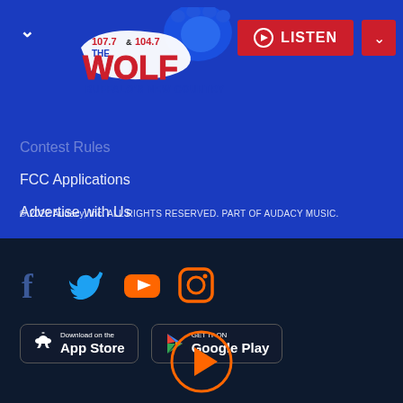[Figure (logo): 107.7 & 104.7 The Wolf - Buffalo's New Country radio station logo with wolf paw print]
[Figure (other): Red LISTEN button with play icon and dropdown arrow]
Contest Rules (partially visible/cut off)
FCC Applications
Advertise with Us
© 2022 Audacy, Inc. ALL RIGHTS RESERVED. PART OF AUDACY MUSIC.
[Figure (other): Social media icons: Facebook, Twitter, YouTube, Instagram]
[Figure (other): Download on the App Store badge]
[Figure (other): Get it on Google Play badge]
[Figure (other): Orange play button circle at bottom center]